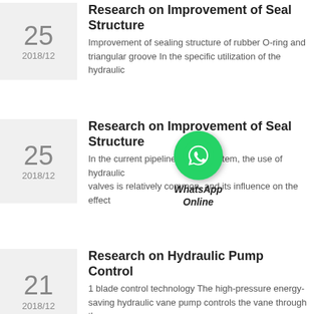25 2018/12 — Research on Improvement of Seal Structure — Improvement of sealing structure of rubber O-ring and triangular groove In the specific utilization of the hydraulic
25 2018/12 — Research on Improvement of Seal Structure — In the current pipeline control system, the use of hydraulic valves is relatively common, and its influence on the effect
21 2018/12 — Research on Hydraulic Pump Control — 1 blade control technology The high-pressure energy-saving hydraulic vane pump controls the vane through the
[Figure (logo): WhatsApp Online button overlay with green phone icon circle and italic bold text 'WhatsApp Online']